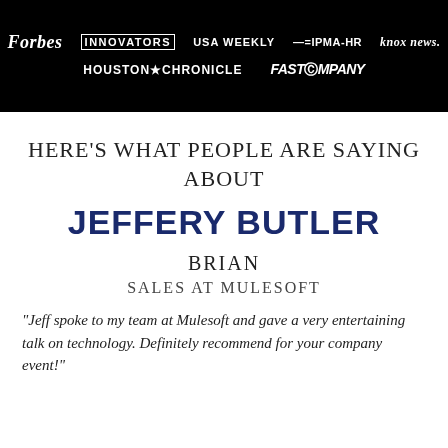[Figure (logo): Media logos banner: Forbes, Innovators, USA Weekly, IPMA-HR, Knox News, Houston Chronicle, Fast Company on black background]
HERE'S WHAT PEOPLE ARE SAYING ABOUT
JEFFERY BUTLER
BRIAN
SALES AT MULESOFT
"Jeff spoke to my team at Mulesoft and gave a very entertaining talk on technology. Definitely recommend for your company event!"